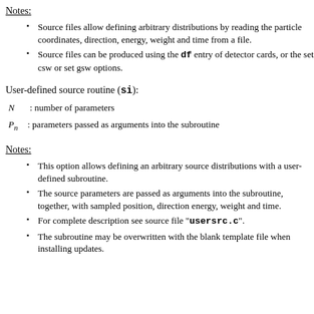Notes:
Source files allow defining arbitrary distributions by reading the particle coordinates, direction, energy, weight and time from a file.
Source files can be produced using the df entry of detector cards, or the set csw or set gsw options.
User-defined source routine (si):
N : number of parameters
Pn : parameters passed as arguments into the subroutine
Notes:
This option allows defining an arbitrary source distributions with a user-defined subroutine.
The source parameters are passed as arguments into the subroutine, together, with sampled position, direction energy, weight and time.
For complete description see source file "usersrc.c".
The subroutine may be overwritten with the blank template file when installing updates.